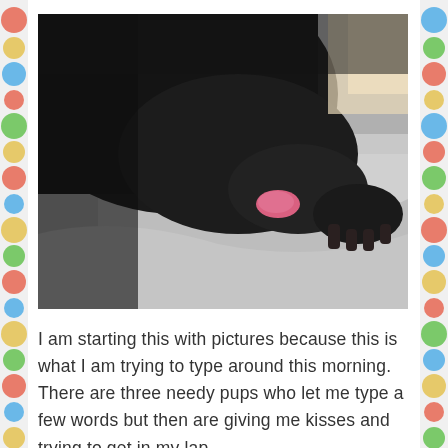[Figure (photo): Close-up photo of a large black dog licking or nuzzling against a person under grey blankets/bedding. The dog's dark fur dominates the upper portion and a pink tongue is visible.]
I am starting this with pictures because this is what I am trying to type around this morning. There are three needy pups who let me type a few words but then are giving me kisses and trying to get in my lap.